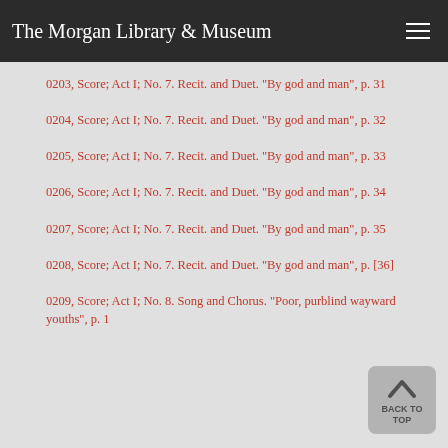The Morgan Library & Museum
0203, Score; Act I; No. 7. Recit. and Duet. "By god and man", p. 31
0204, Score; Act I; No. 7. Recit. and Duet. "By god and man", p. 32
0205, Score; Act I; No. 7. Recit. and Duet. "By god and man", p. 33
0206, Score; Act I; No. 7. Recit. and Duet. "By god and man", p. 34
0207, Score; Act I; No. 7. Recit. and Duet. "By god and man", p. 35
0208, Score; Act I; No. 7. Recit. and Duet. "By god and man", p. [36]
0209, Score; Act I; No. 8. Song and Chorus. "Poor, purblind wayward youths", p. 1